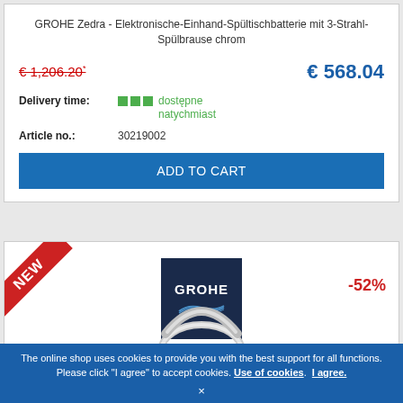GROHE Zedra - Elektronische-Einhand-Spültischbatterie mit 3-Strahl-Spülbrause chrom
€ 1,206.20* (struck through) | € 568.04
Delivery time: dostępne natychmiast
Article no.: 30219002
ADD TO CART
[Figure (logo): GROHE brand logo on dark navy background with wave symbol]
-52%
NEW badge ribbon
[Figure (photo): Chrome kitchen faucet partial view at bottom of second product card]
The online shop uses cookies to provide you with the best support for all functions. Please click "I agree" to accept cookies. Use of cookies. I agree.